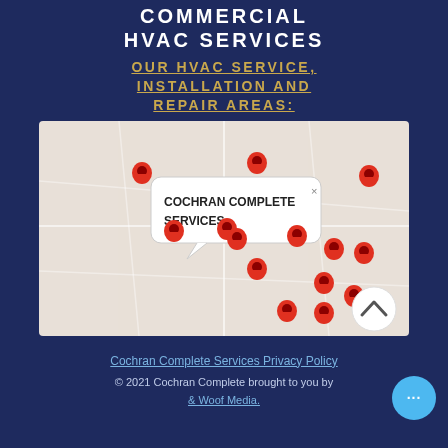COMMERCIAL HVAC SERVICES
OUR HVAC SERVICE, INSTALLATION AND REPAIR AREAS:
[Figure (map): Map showing service area with multiple red location pin markers. A popup callout reads 'COCHRAN COMPLETE SERVICES'. A scroll-up button is visible in the bottom-right corner of the map.]
Cochran Complete Services Privacy Policy
© 2021 Cochran Complete brought to you by & Woof Media.